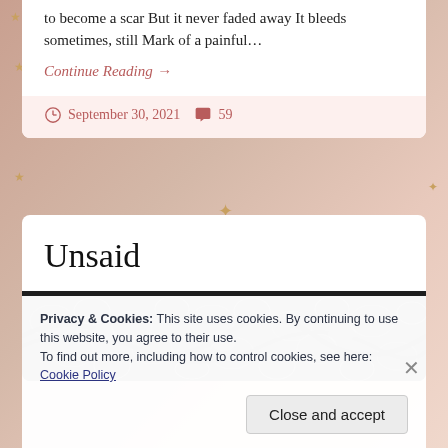to become a scar But it never faded away It bleeds sometimes, still Mark of a painful…
Continue Reading →
September 30, 2021   59
Unsaid
[Figure (photo): Black and white close-up photo of dark lace or floral fabric texture]
Privacy & Cookies: This site uses cookies. By continuing to use this website, you agree to their use.
To find out more, including how to control cookies, see here: Cookie Policy
Close and accept